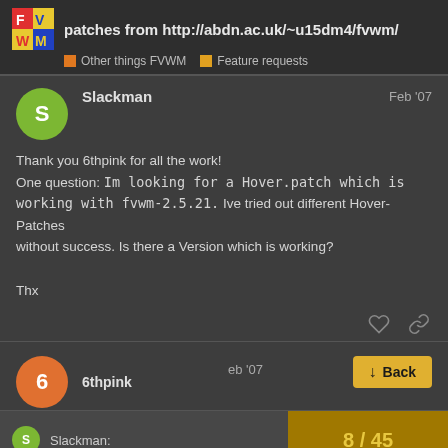patches from http://abdn.ac.uk/~u15dm4/fvwm/ | Other things FVWM | Feature requests
Slackman
Feb '07

Thank you 6thpink for all the work!
One question: Im looking for a Hover.patch which is working with fvwm-2.5.21.  Ive tried out different Hover-Patches
without success. Is there a Version which is working?

Thx
6thpink
Feb '07
Slackman:
8 / 45